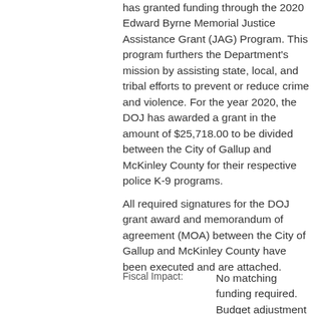has granted funding through the 2020 Edward Byrne Memorial Justice Assistance Grant (JAG) Program. This program furthers the Department's mission by assisting state, local, and tribal efforts to prevent or reduce crime and violence. For the year 2020, the DOJ has awarded a grant in the amount of $25,718.00 to be divided between the City of Gallup and McKinley County for their respective police K-9 programs.
All required signatures for the DOJ grant award and memorandum of agreement (MOA) between the City of Gallup and McKinley County have been executed and are attached.
Fiscal Impact:	No matching funding required. Budget adjustment for revenue and qualified expenditure in the